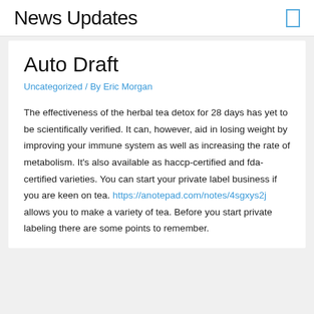News Updates
Auto Draft
Uncategorized / By Eric Morgan
The effectiveness of the herbal tea detox for 28 days has yet to be scientifically verified. It can, however, aid in losing weight by improving your immune system as well as increasing the rate of metabolism. It's also available as haccp-certified and fda-certified varieties. You can start your private label business if you are keen on tea. https://anotepad.com/notes/4sgxys2j allows you to make a variety of tea. Before you start private labeling there are some points to remember.